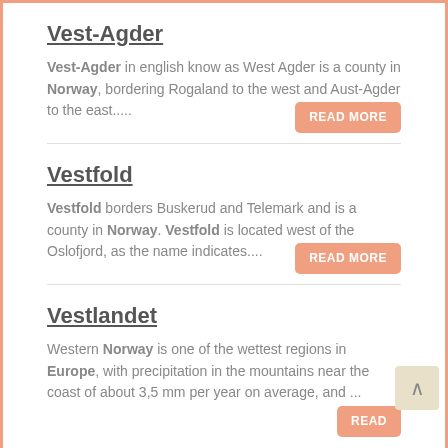Vest-Agder
Vest-Agder in english know as West Agder is a county in Norway, bordering Rogaland to the west and Aust-Agder to the east.....
Vestfold
Vestfold borders Buskerud and Telemark and is a county in Norway. Vestfold is located west of the Oslofjord, as the name indicates....
Vestlandet
Western Norway is one of the wettest regions in Europe, with precipitation in the mountains near the coast of about 3,5 mm per year on average, and ...